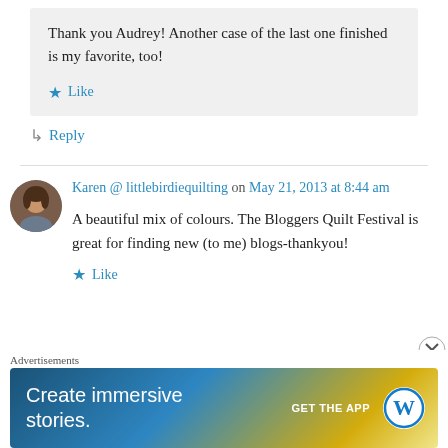Thank you Audrey! Another case of the last one finished is my favorite, too!
Like
Reply
Karen @ littlebirdiequilting on May 21, 2013 at 8:44 am
A beautiful mix of colours. The Bloggers Quilt Festival is great for finding new (to me) blogs-thankyou!
Like
[Figure (photo): Avatar photo of Karen, a woman with brown hair]
Advertisements
[Figure (infographic): WordPress ad banner: Create immersive stories. GET THE APP with WordPress logo]